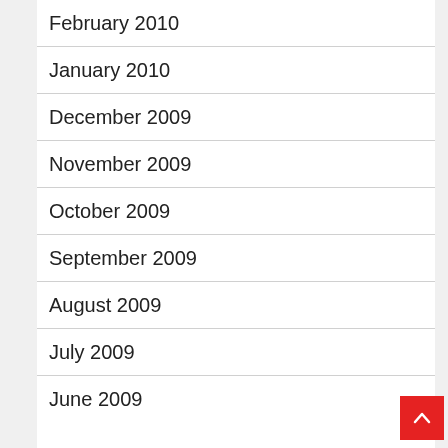February 2010
January 2010
December 2009
November 2009
October 2009
September 2009
August 2009
July 2009
June 2009